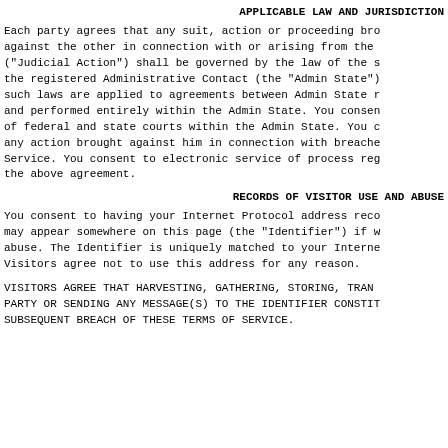APPLICABLE LAW AND JURISDICTION
Each party agrees that any suit, action or proceeding bro against the other in connection with or arising from the ("Judicial Action") shall be governed by the law of the s the registered Administrative Contact (the "Admin State" such laws are applied to agreements between Admin State r and performed entirely within the Admin State. You consen of federal and state courts within the Admin State. You c any action brought against him in connection with breache Service. You consent to electronic service of process reg the above agreement.
RECORDS OF VISITOR USE AND ABUSE
You consent to having your Internet Protocol address reco may appear somewhere on this page (the "Identifier") if w abuse. The Identifier is uniquely matched to your Interne Visitors agree not to use this address for any reason.
VISITORS AGREE THAT HARVESTING, GATHERING, STORING, TRAN PARTY OR SENDING ANY MESSAGE(S) TO THE IDENTIFIER CONSTIT SUBSEQUENT BREACH OF THESE TERMS OF SERVICE.